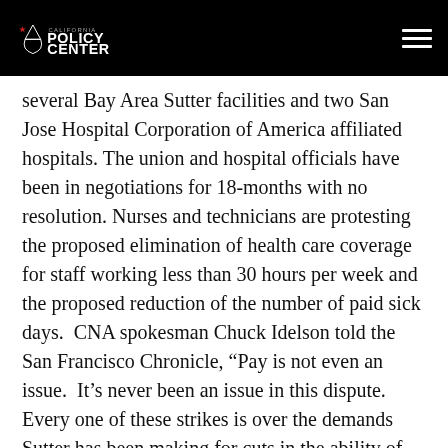California Policy Center
several Bay Area Sutter facilities and two San Jose Hospital Corporation of America affiliated hospitals. The union and hospital officials have been in negotiations for 18-months with no resolution. Nurses and technicians are protesting the proposed elimination of health care coverage for staff working less than 30 hours per week and the proposed reduction of the number of paid sick days. CNA spokesman Chuck Idelson told the San Francisco Chronicle, “Pay is not even an issue. It’s never been an issue in this dispute. Every one of these strikes is over the demands Sutter has been making for cuts in the ability of nurses to provide quality care.” This strike would be the eighth by the CNA since September 2011.